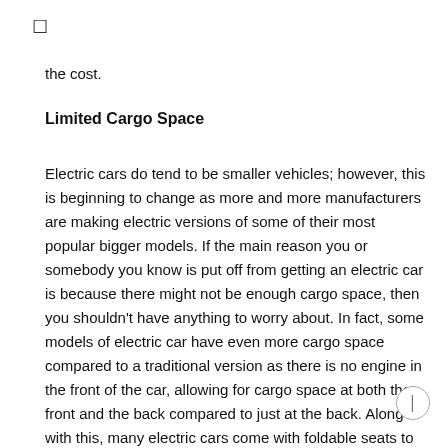the cost.
Limited Cargo Space
Electric cars do tend to be smaller vehicles; however, this is beginning to change as more and more manufacturers are making electric versions of some of their most popular bigger models. If the main reason you or somebody you know is put off from getting an electric car is because there might not be enough cargo space, then you shouldn't have anything to worry about. In fact, some models of electric car have even more cargo space compared to a traditional version as there is no engine in the front of the car, allowing for cargo space at both the front and the back compared to just at the back. Along with this, many electric cars come with foldable seats to